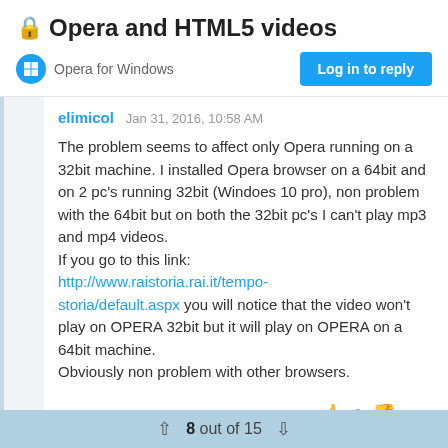Opera and HTML5 videos
Opera for Windows
Log in to reply
elimicol   Jan 31, 2016, 10:58 AM
The problem seems to affect only Opera running on a 32bit machine. I installed Opera browser on a 64bit and on 2 pc's running 32bit (Windoes 10 pro), non problem with the 64bit but on both the 32bit pc's I can't play mp3 and mp4 videos.
If you go to this link:
http://www.raistoria.rai.it/tempo-storia/default.aspx you will notice that the video won't play on OPERA 32bit but it will play on OPERA on a 64bit machine.
Obviously non problem with other browsers.
8 out of 15